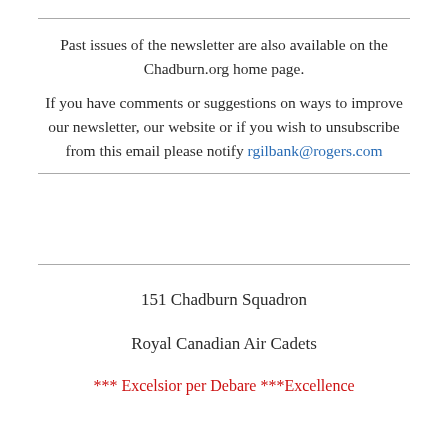Past issues of the newsletter are also available on the Chadburn.org home page.
If you have comments or suggestions on ways to improve our newsletter, our website or if you wish to unsubscribe from this email please notify rgilbank@rogers.com
151 Chadburn Squadron
Royal Canadian Air Cadets
*** Excelsior per Debore ***Excellence through Endeavour ***